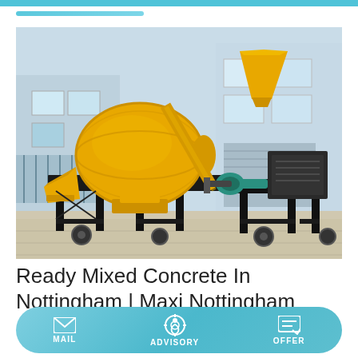[Figure (photo): Yellow concrete mixer and pump machine on black metal frame, outdoors in front of a light blue building. Industrial construction equipment.]
Ready Mixed Concrete In Nottingham | Maxi Nottingham
MAIL   ADVISORY   OFFER